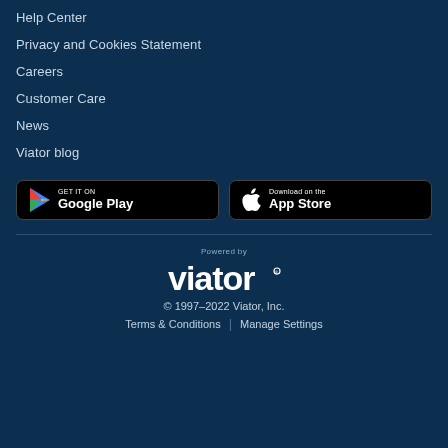Help Center
Privacy and Cookies Statement
Careers
Customer Care
News
Viator blog
[Figure (screenshot): Google Play store download button (black rounded rectangle badge)]
[Figure (screenshot): Apple App Store download button (black rounded rectangle badge)]
[Figure (logo): Viator logo — 'Powered by viator' in white on dark navy background]
© 1997–2022 Viator, Inc.   Terms & Conditions | Manage Settings